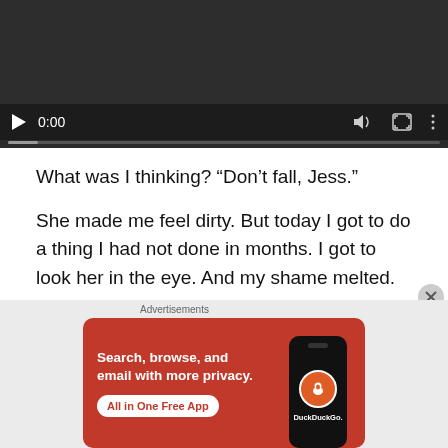[Figure (screenshot): Video player with dark background, play button, 0:00 timestamp, volume, fullscreen and more icons, and a progress bar at the bottom]
What was I thinking? “Don’t fall, Jess.”
She made me feel dirty. But today I got to do a thing I had not done in months. I got to look her in the eye. And my shame melted. This human being was giving false witness to continue to harm a person she had abused. She still
[Figure (screenshot): DuckDuckGo advertisement banner: orange background with text 'Search, browse, and email with more privacy. All in One Free App' and a phone graphic with DuckDuckGo logo. Labeled 'Advertisements' above.]